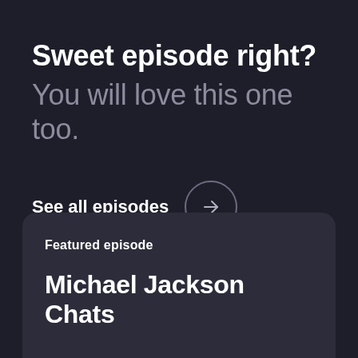Sweet episode right?
You will love this one too.
See all episodes →
Featured episode
Michael Jackson Chats